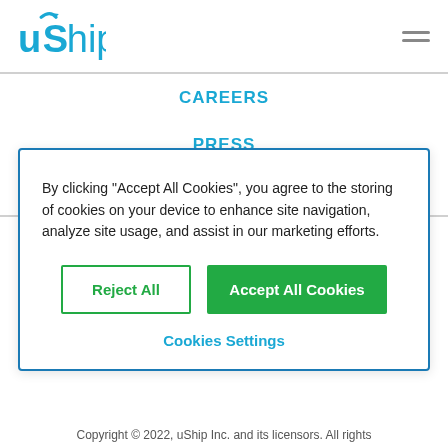uShip logo | hamburger menu
CAREERS
PRESS
BLOG
By clicking “Accept All Cookies”, you agree to the storing of cookies on your device to enhance site navigation, analyze site usage, and assist in our marketing efforts.
Reject All
Accept All Cookies
Cookies Settings
Copyright © 2022, uShip Inc. and its licensors. All rights